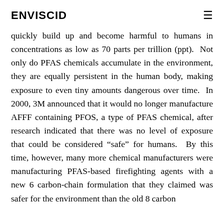ENVISCID
quickly build up and become harmful to humans in concentrations as low as 70 parts per trillion (ppt). Not only do PFAS chemicals accumulate in the environment, they are equally persistent in the human body, making exposure to even tiny amounts dangerous over time. In 2000, 3M announced that it would no longer manufacture AFFF containing PFOS, a type of PFAS chemical, after research indicated that there was no level of exposure that could be considered “safe” for humans. By this time, however, many more chemical manufacturers were manufacturing PFAS-based firefighting agents with a new 6 carbon-chain formulation that they claimed was safer for the environment than the old 8 carbon